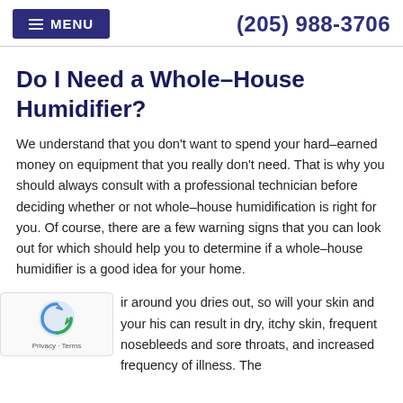MENU  (205) 988-3706
Do I Need a Whole–House Humidifier?
We understand that you don't want to spend your hard–earned money on equipment that you really don't need. That is why you should always consult with a professional technician before deciding whether or not whole–house humidification is right for you. Of course, there are a few warning signs that you can look out for which should help you to determine if a whole–house humidifier is a good idea for your home.
ir around you dries out, so will your skin and your his can result in dry, itchy skin, frequent nosebleeds and sore throats, and increased frequency of illness. The